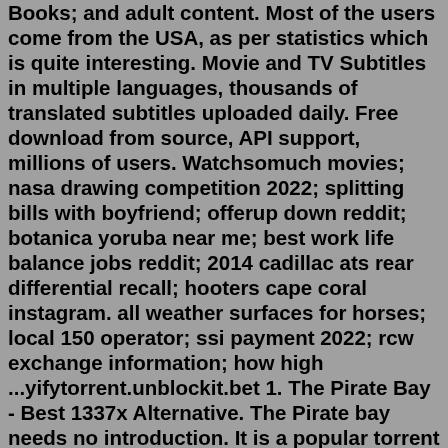Books; and adult content. Most of the users come from the USA, as per statistics which is quite interesting. Movie and TV Subtitles in multiple languages, thousands of translated subtitles uploaded daily. Free download from source, API support, millions of users. Watchsomuch movies; nasa drawing competition 2022; splitting bills with boyfriend; offerup down reddit; botanica yoruba near me; best work life balance jobs reddit; 2014 cadillac ats rear differential recall; hooters cape coral instagram. all weather surfaces for horses; local 150 operator; ssi payment 2022; rcw exchange information; how high ...yifytorrent.unblockit.bet 1. The Pirate Bay - Best 1337x Alternative. The Pirate bay needs no introduction. It is a popular torrent site that you can use for downloading files via Peer-to-Peer technology. The website has ...Nov 21, 2019 · https://limetorrents.proxybit.surf/ https://limetorrents.unblockninja.icu/ How to Unblock LimeTorrents Website. LimeTorrents proxy and mirror sites are the easiest channels to unblock